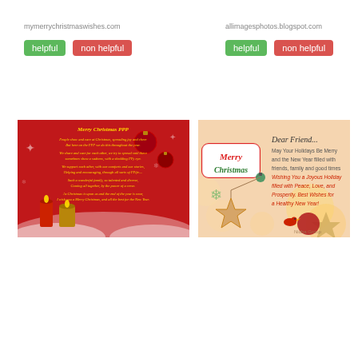mymerrychristmaswishes.com
helpful | non helpful
[Figure (photo): Red Christmas card with candles and ornaments, text 'Merry Christmas PPP' with poem, from mymerrychristmaswishes.com]
allimagesphotos.blogspot.com
helpful | non helpful
[Figure (photo): Christmas greeting card with 'Merry Christmas' and 'Dear Friend... May Your Holidays Be Merry and the New Year filled with friends, family and good times Wishing You a Joyous Holiday filled with Peace, Love, and Prosperity. Best Wishes for a Healthy New Year!' from allimagesphotos.blogspot.com]